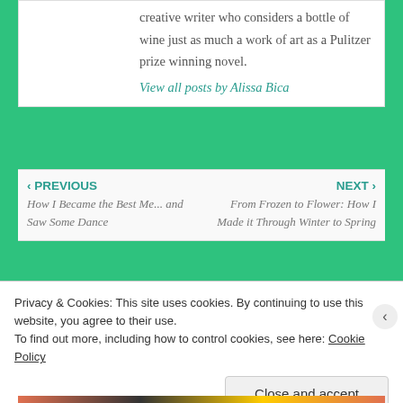creative writer who considers a bottle of wine just as much a work of art as a Pulitzer prize winning novel.
View all posts by Alissa Bica
‹ PREVIOUS
How I Became the Best Me... and Saw Some Dance
NEXT ›
From Frozen to Flower: How I Made it Through Winter to Spring
Privacy & Cookies: This site uses cookies. By continuing to use this website, you agree to their use.
To find out more, including how to control cookies, see here: Cookie Policy
Close and accept